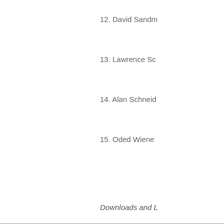12. David Sandm
13. Lawrence Sc
14. Alan Schneid
15. Oded Wiene
Downloads and L
Photo: WEA
Bonner Que